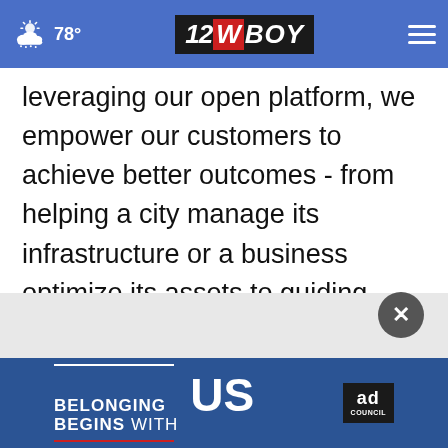78° | 12WBOY
leveraging our open platform, we empower our customers to achieve better outcomes - from helping a city manage its infrastructure or a business optimize its assets to guiding drivers to their destination safely. To learn more about HERE, please visit www.here.com and www.360.here.com.
[Figure (other): Ad Council advertisement banner: 'BELONGING BEGINS WITH US' on blue background with Ad Council logo]